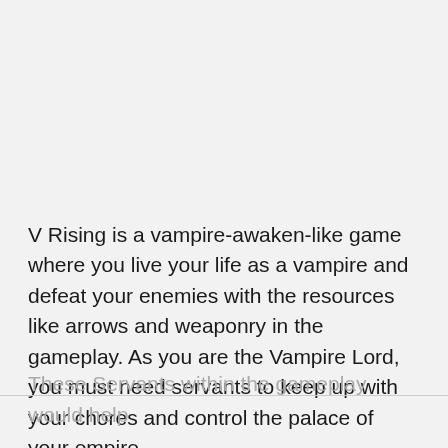V Rising is a vampire-awaken-like game where you live your life as a vampire and defeat your enemies with the resources like arrows and weaponry in the gameplay. As you are the Vampire Lord, you must need servants to keep up with your chores and control the palace of your empire.
These Servants within the gameplay would help